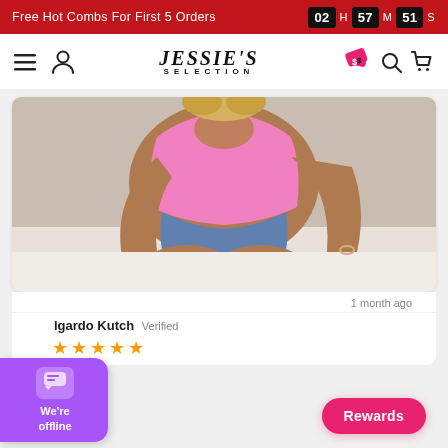Free Hot Combs For First 5 Orders  02 H 57 M 51 S
JESSIE'S SELECTION
[Figure (photo): A woman in a pink crop top and denim shorts sitting on a white bed, photographed from neck down]
1 month ago
Edgardo Kutch Verified
★★★★★
Rewards
We're offline